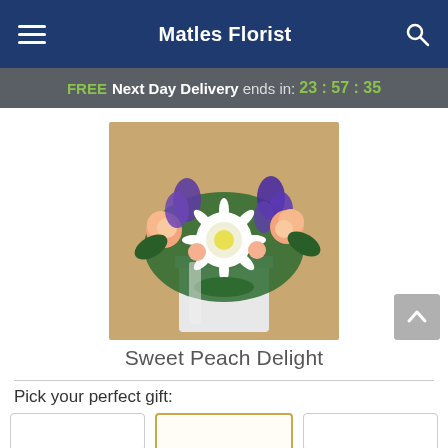Matles Florist
FREE Next Day Delivery ends in: 23 : 57 : 35
[Figure (photo): Flower arrangement in a white square vase with purple irises, white gerbera daisy, peach roses, and green leaves on a tan/beige background.]
Sweet Peach Delight
Pick your perfect gift: